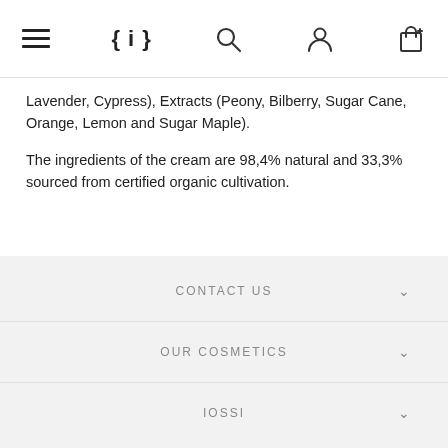{ i } [search icon] [user icon] [cart icon]
Lavender, Cypress), Extracts (Peony, Bilberry, Sugar Cane, Orange, Lemon and Sugar Maple).
The ingredients of the cream are 98,4% natural and 33,3% sourced from certified organic cultivation.
CONTACT US
OUR COSMETICS
IOSSI